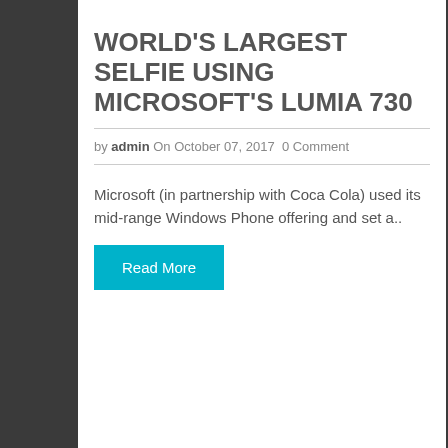WORLD'S LARGEST SELFIE USING MICROSOFT'S LUMIA 730
by admin On October 07, 2017 0 Comment
Microsoft (in partnership with Coca Cola) used its mid-range Windows Phone offering and set a..
Read More